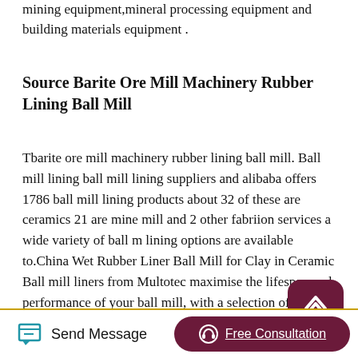mining equipment,mineral processing equipment and building materials equipment .
Source Barite Ore Mill Machinery Rubber Lining Ball Mill
Tbarite ore mill machinery rubber lining ball mill. Ball mill lining ball mill lining suppliers and alibaba offers 1786 ball mill lining products about 32 of these are ceramics 21 are mine mill and 2 other fabriion services a wide variety of ball mill lining options are available to.China Wet Rubber Liner Ball Mill for Clay in Ceramic Ball mill liners from Multotec maximise the lifespan and performance of your ball mill, with a selection of rubber and rubber composite liners
Send Message | Free Consultation